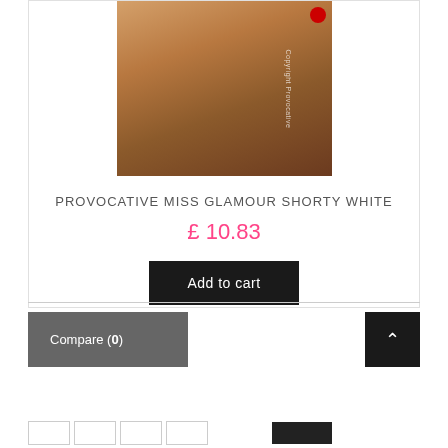[Figure (photo): Product photo of Provocative Miss Glamour Shorty White lingerie item on model, with copyright watermark 'Copyright Provocative' on the side and a red badge in the top right corner.]
PROVOCATIVE MISS GLAMOUR SHORTY WHITE
£ 10.83
Add to cart
Compare (0)